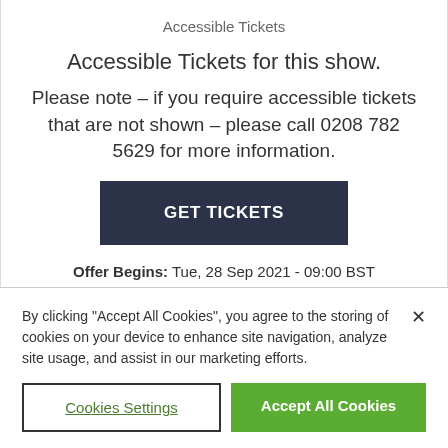Accessible Tickets
Accessible Tickets for this show.
Please note – if you require accessible tickets that are not shown – please call 0208 782 5629 for more information.
[Figure (other): Dark navy button labeled GET TICKETS]
Offer Begins: Tue, 28 Sep 2021 - 09:00 BST
By clicking "Accept All Cookies", you agree to the storing of cookies on your device to enhance site navigation, analyze site usage, and assist in our marketing efforts.
Cookies Settings
Accept All Cookies